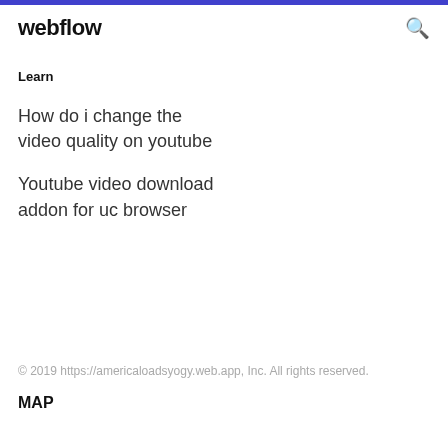webflow
Learn
How do i change the video quality on youtube
Youtube video download addon for uc browser
© 2019 https://americaloadsyogy.web.app, Inc. All rights reserved.
MAP